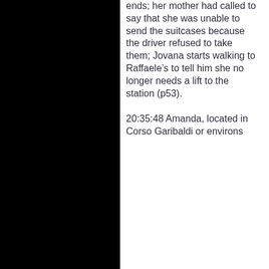ends; her mother had called to say that she was unable to send the suitcases because the driver refused to take them; Jovana starts walking to Raffaele’s to tell him she no longer needs a lift to the station (p53).
20:35:48 Amanda, located in Corso Garibaldi or environs